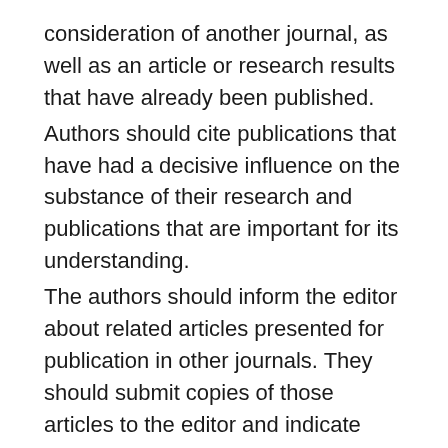consideration of another journal, as well as an article or research results that have already been published.
Authors should cite publications that have had a decisive influence on the substance of their research and publications that are important for its understanding.
The authors should inform the editor about related articles presented for publication in other journals. They should submit copies of those articles to the editor and indicate their relationship to the manuscript.
In the manuscript, it is necessary to define the contribution of all persons who influenced the course of the research. Co-authors of the manuscript must be all persons who made a